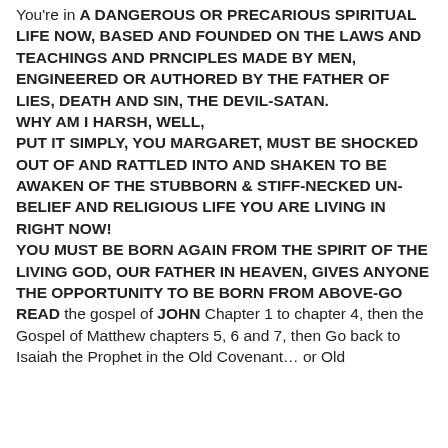You're in A DANGEROUS OR PRECARIOUS SPIRITUAL LIFE NOW, BASED AND FOUNDED ON THE LAWS AND TEACHINGS AND PRNCIPLES MADE BY MEN, ENGINEERED OR AUTHORED BY THE FATHER OF LIES, DEATH AND SIN, THE DEVIL-SATAN. WHY AM I HARSH, WELL, PUT IT SIMPLY, YOU MARGARET, MUST BE SHOCKED OUT OF AND RATTLED INTO AND SHAKEN TO BE AWAKEN OF THE STUBBORN & STIFF-NECKED UN-BELIEF AND RELIGIOUS LIFE YOU ARE LIVING IN RIGHT NOW! YOU MUST BE BORN AGAIN FROM THE SPIRIT OF THE LIVING GOD, OUR FATHER IN HEAVEN, GIVES ANYONE THE OPPORTUNITY TO BE BORN FROM ABOVE-GO READ the gospel of JOHN Chapter 1 to chapter 4, then the Gospel of Matthew chapters 5, 6 and 7, then Go back to Isaiah the Prophet in the Old Covenant… or Old